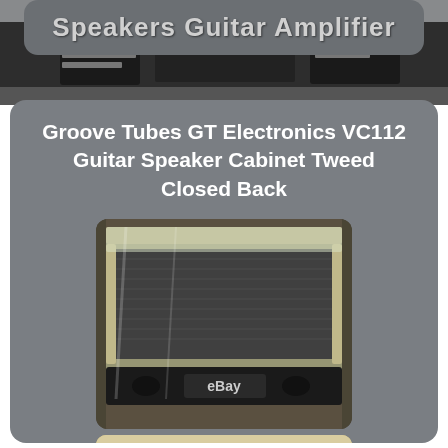Speakers Guitar Amplifier
Groove Tubes GT Electronics VC112 Guitar Speaker Cabinet Tweed Closed Back
[Figure (photo): Photo of a Groove Tubes GT Electronics VC112 guitar speaker cabinet with tweed covering and closed back, wrapped in plastic, with eBay watermark at bottom]
[Figure (photo): Partial photo of the speaker cabinet showing the bottom portion, cropped at page edge]